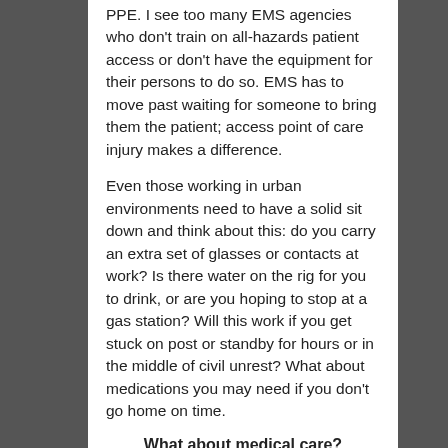PPE. I see too many EMS agencies who don't train on all-hazards patient access or don't have the equipment for their persons to do so. EMS has to move past waiting for someone to bring them the patient; access point of care injury makes a difference.
Even those working in urban environments need to have a solid sit down and think about this: do you carry an extra set of glasses or contacts at work? Is there water on the rig for you to drink, or are you hoping to stop at a gas station? Will this work if you get stuck on post or standby for hours or in the middle of civil unrest? What about medications you may need if you don't go home on time.
What about medical care?
I think the concept of taking care of patients from a